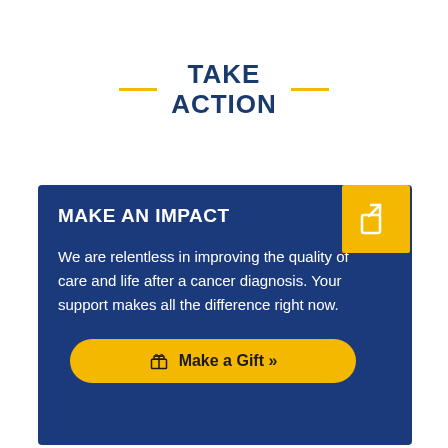TAKE ACTION
MAKE AN IMPACT
We are relentless in improving the quality of care and life after a cancer diagnosis. Your support makes all the difference right now.
Make a Gift »